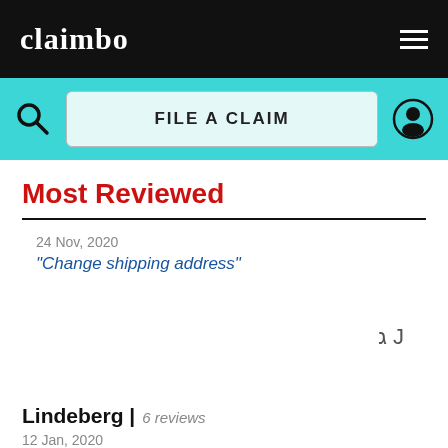claimbo
[Figure (screenshot): Navigation bar with FILE A CLAIM button on teal background, search icon left, user icon right]
Most Reviewed
24 Nov, 2020
"Change shipping address"
ג J
Lindeberg | 6 reviews
12 Jan, 2020